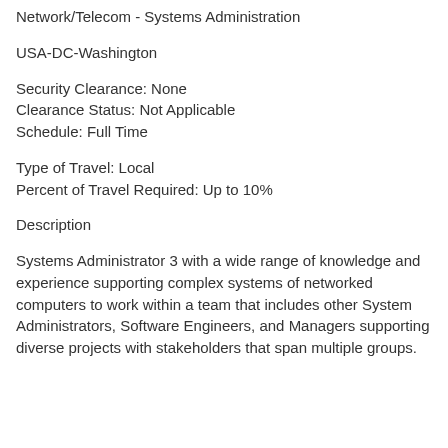Network/Telecom - Systems Administration
USA-DC-Washington
Security Clearance: None
Clearance Status: Not Applicable
Schedule: Full Time
Type of Travel: Local
Percent of Travel Required: Up to 10%
Description
Systems Administrator 3 with a wide range of knowledge and experience supporting complex systems of networked computers to work within a team that includes other System Administrators, Software Engineers, and Managers supporting diverse projects with stakeholders that span multiple groups.